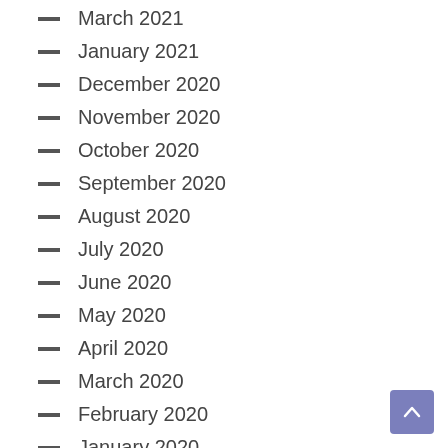March 2021
January 2021
December 2020
November 2020
October 2020
September 2020
August 2020
July 2020
June 2020
May 2020
April 2020
March 2020
February 2020
January 2020
December 2019
October 2019
September 2019